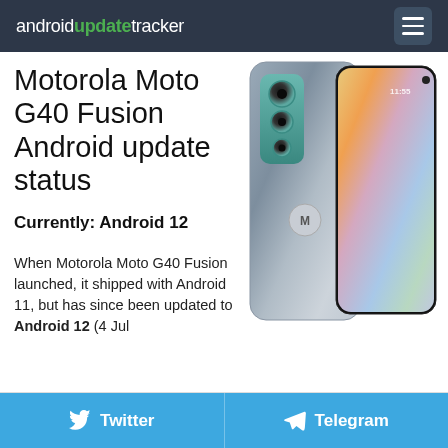androidupdatetracker
Motorola Moto G40 Fusion Android update status
[Figure (photo): Motorola Moto G40 Fusion smartphone showing both back and front, with teal camera module and colorful abstract screen wallpaper]
Currently: Android 12
When Motorola Moto G40 Fusion launched, it shipped with Android 11, but has since been updated to Android 12 (4 Jul